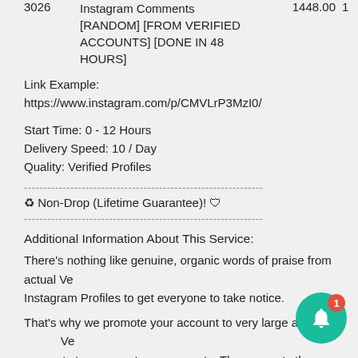| ID | Description | Price | Qty |
| --- | --- | --- | --- |
| 3026 | Instagram Comments [RANDOM] [FROM VERIFIED ACCOUNTS] [DONE IN 48 HOURS] | 1448.00 | 1 |
Link Example:
https://www.instagram.com/p/CMVLrP3MzI0/
Start Time: 0 - 12 Hours
Delivery Speed: 10 / Day
Quality: Verified Profiles
♻ Non-Drop (Lifetime Guarantee)! 🛡
Additional Information About This Service:
There's nothing like genuine, organic words of praise from actual Verified Instagram Profiles to get everyone to take notice.
That's why we promote your account to very large and Verified accounts to comment on your posts. The accounts that follow you from 30,000 – 500,000 followers and be verified by Instagram ( they